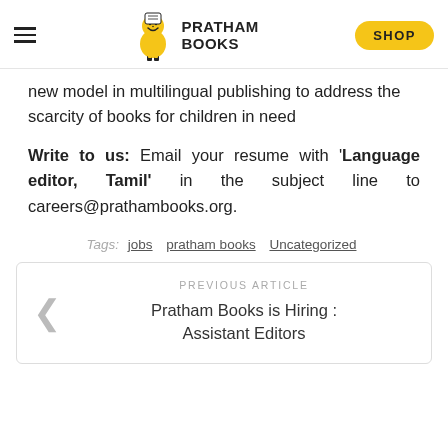PRATHAM BOOKS | SHOP
new model in multilingual publishing to address the scarcity of books for children in need
Write to us: Email your resume with 'Language editor, Tamil' in the subject line to careers@prathambooks.org.
Tags: jobs  pratham books  Uncategorized
PREVIOUS ARTICLE
Pratham Books is Hiring : Assistant Editors